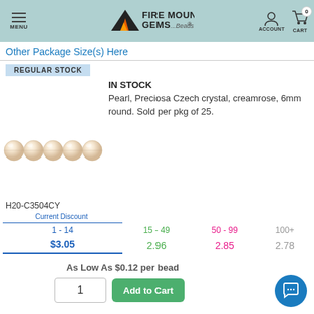Fire Mountain Gems and Beads — Menu | Account | Cart (0)
Other Package Size(s) Here
REGULAR STOCK
IN STOCK
Pearl, Preciosa Czech crystal, creamrose, 6mm round. Sold per pkg of 25.
[Figure (photo): Row of cream/rose colored pearl beads]
H20-C3504CY
| Current Discount | 15 - 49 | 50 - 99 | 100+ |
| --- | --- | --- | --- |
| 1 - 14 | 15 - 49 | 50 - 99 | 100+ |
| $3.05 | 2.96 | 2.85 | 2.78 |
As Low As $0.12 per bead